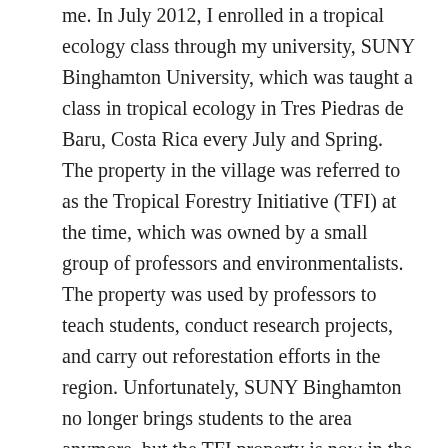me. In July 2012, I enrolled in a tropical ecology class through my university, SUNY Binghamton University, which was taught a class in tropical ecology in Tres Piedras de Baru, Costa Rica every July and Spring. The property in the village was referred to as the Tropical Forestry Initiative (TFI) at the time, which was owned by a small group of professors and environmentalists. The property was used by professors to teach students, conduct research projects, and carry out reforestation efforts in the region. Unfortunately, SUNY Binghamton no longer brings students to the area anymore, but the TFI property is now in the hands of a local resident who would like to continue using the property for conservation and educational projects. Although Tessa and I will be expected to design, complete, and present our own independent research projects for our degree, we intend to help the new owner of the property with outreach initiatives that could bring student groups back to the